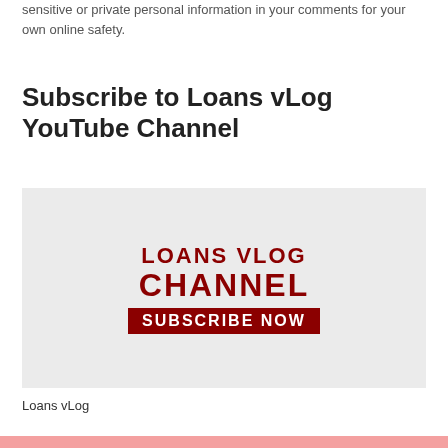sensitive or private personal information in your comments for your own online safety.
Subscribe to Loans vLog YouTube Channel
[Figure (logo): Loans vLog Channel Subscribe Now promotional image on light grey background with bold dark red text]
Loans vLog